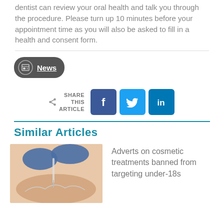dentist can review your oral health and talk you through the procedure. Please turn up 10 minutes before your appointment time as you will also be asked to fill in a health and consent form.
[Figure (other): News tag button with newspaper icon and underlined text 'News' on dark grey rounded pill background]
[Figure (infographic): Share this article row with share icon, text SHARE THIS ARTICLE, and social media icons for Facebook, Twitter, LinkedIn]
Similar Articles
[Figure (photo): Close-up photo of blue-gloved hands performing a cosmetic injection procedure near a person's eye/eyebrow area]
Adverts on cosmetic treatments banned from targeting under-18s